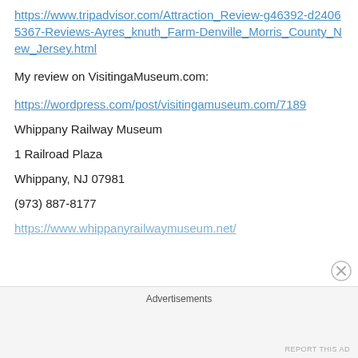https://www.tripadvisor.com/Attraction_Review-g46392-d24065367-Reviews-Ayres_knuth_Farm-Denville_Morris_County_New_Jersey.html
My review on VisitingaMuseum.com:
https://wordpress.com/post/visitingamuseum.com/7189
Whippany Railway Museum
1 Railroad Plaza
Whippany, NJ 07981
(973) 887-8177
https://www.whippanyrailwaymuseum.net/
Advertisements
REPORT THIS AD